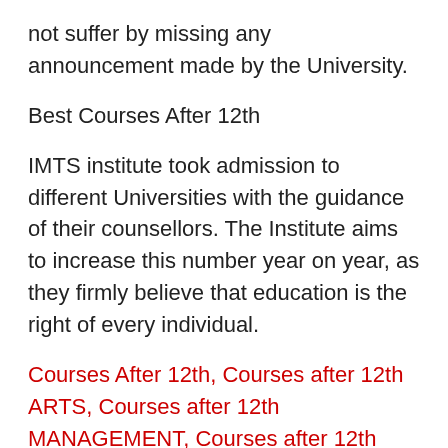not suffer by missing any announcement made by the University.
Best Courses After 12th
IMTS institute took admission to different Universities with the guidance of their counsellors. The Institute aims to increase this number year on year, as they firmly believe that education is the right of every individual.
Courses After 12th, Courses after 12th ARTS, Courses after 12th MANAGEMENT, Courses after 12th COMMERCE, Courses after 12th